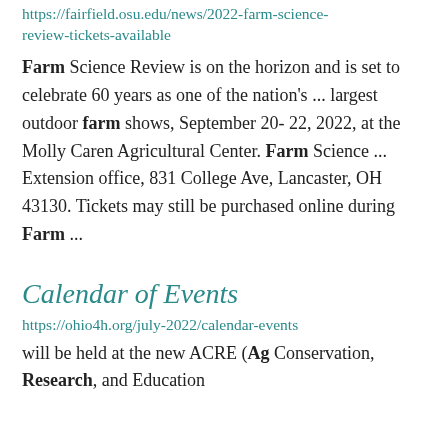https://fairfield.osu.edu/news/2022-farm-science-review-tickets-available
Farm Science Review is on the horizon and is set to celebrate 60 years as one of the nation's ... largest outdoor farm shows, September 20- 22, 2022, at the Molly Caren Agricultural Center. Farm Science ... Extension office, 831 College Ave, Lancaster, OH 43130. Tickets may still be purchased online during Farm ...
Calendar of Events
https://ohio4h.org/july-2022/calendar-events
will be held at the new ACRE (Ag Conservation, Research, and Education